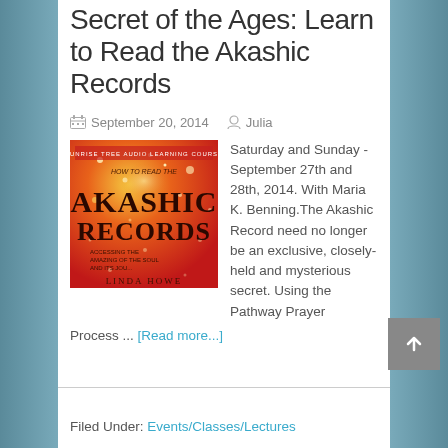Secret of the Ages: Learn to Read the Akashic Records
September 20, 2014   Julia
[Figure (illustration): Book cover for 'How to Read the Akashic Records' by Linda Howe. Orange and red background with golden sparkles. Text: 'AKASHIC RECORDS', 'Accessing the Amazing of the Soul and Its Journey', 'LINDA HOWE'. Top: 'Sunrise Tree Audio Learning Course'.]
Saturday and Sunday - September 27th and 28th, 2014. With Maria K. Benning.The Akashic Record need no longer be an exclusive, closely-held and mysterious secret. Using the Pathway Prayer Process ... [Read more...]
Filed Under: Events/Classes/Lectures